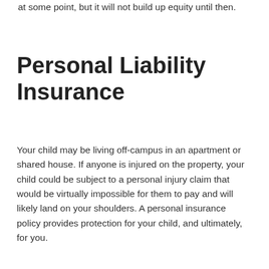at some point, but it will not build up equity until then.
Personal Liability Insurance
Your child may be living off-campus in an apartment or shared house. If anyone is injured on the property, your child could be subject to a personal injury claim that would be virtually impossible for them to pay and will likely land on your shoulders. A personal insurance policy provides protection for your child, and ultimately, for you.